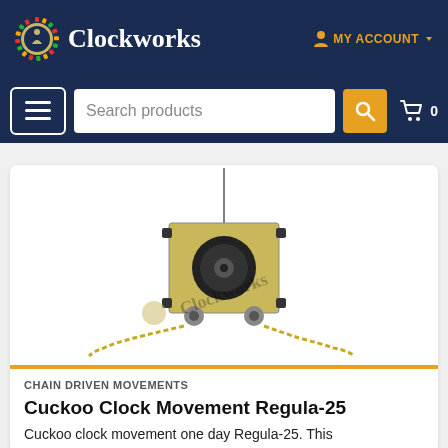Clockworks — MY ACCOUNT
[Figure (screenshot): Clockworks website header with logo (colorful gear icon with figure) and 'Clockworks' text in white serif font on dark navy background. MY ACCOUNT link in gold on right.]
[Figure (screenshot): Search bar area with hamburger menu button, 'Search products' input field, orange search button with magnifying glass icon, and shopping cart icon with 0 count.]
[Figure (photo): Cuckoo clock movement Regula-25 product photo showing a mechanical clock movement with gears, black mechanism body, brass chains hanging on both sides, on white background with Clockworks watermark.]
CHAIN DRIVEN MOVEMENTS
Cuckoo Clock Movement Regula-25
Cuckoo clock movement one day Regula-25. This